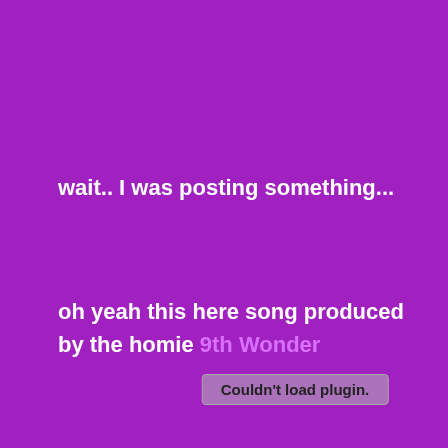wait.. I was posting something...
oh yeah this here song produced by the homie 9th Wonder
Couldn't load plugin.